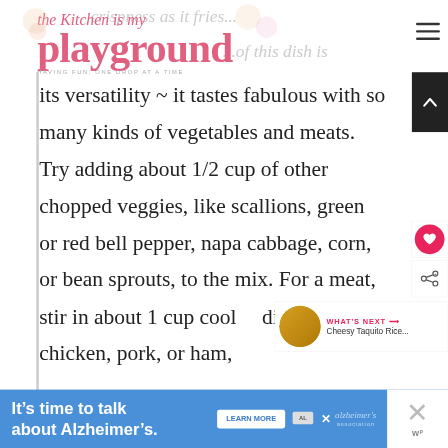the Kitchen is my playground — HAVING FUN, ONE DROP AT A TIME
crispness as it fries... the best part of this dish is its versatility ~ it tastes fabulous with so many kinds of vegetables and meats. Try adding about 1/2 cup of other chopped veggies, like scallions, green or red bell pepper, napa cabbage, corn, or bean sprouts, to the mix. For a meat, stir in about 1 cup cooked diced chicken, pork, or ham, instead of shrimp if you'd like.
WHAT'S NEXT → Cheesy Taquito Rice...
It's time to talk about Alzheimer's. LEARN MORE